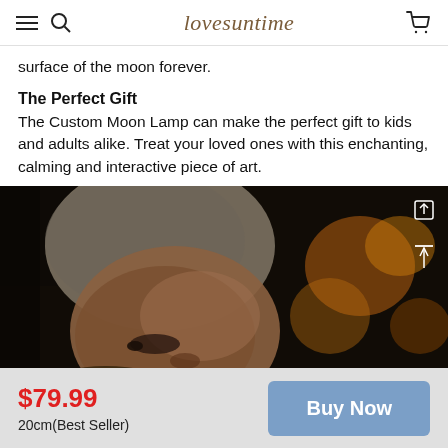lovesuntime
surface of the moon forever.
The Perfect Gift
The Custom Moon Lamp can make the perfect gift to kids and adults alike. Treat your loved ones with this enchanting, calming and interactive piece of art.
[Figure (photo): Close-up photo of a young child wearing a light grey knit beanie hat, looking downward at something glowing with warm orange bokeh lights in the background.]
$79.99
20cm(Best Seller)
Buy Now